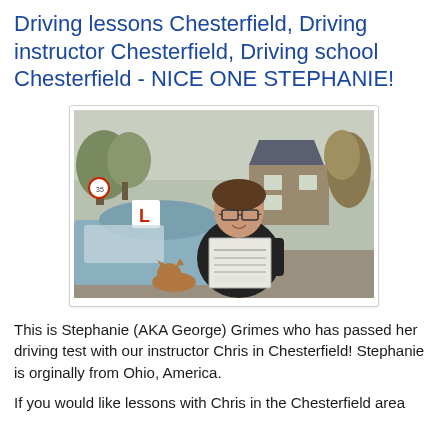Driving lessons Chesterfield, Driving instructor Chesterfield, Driving school Chesterfield - NICE ONE STEPHANIE!
[Figure (photo): Woman smiling and holding up her driving test pass certificate, standing in front of a blue car with a red L-plate on the roof, outside a stone house with trees in background.]
This is Stephanie (AKA George) Grimes who has passed her driving test with our instructor Chris in Chesterfield! Stephanie is orginally from Ohio, America.
If you would like lessons with Chris in the Chesterfield area